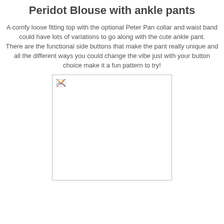Peridot Blouse with ankle pants
A comfy loose fitting top with the optional Peter Pan collar and waist band could have lots of variations to go along with the cute ankle pant. There are the functional side buttons that make the pant really unique and all the different ways you could change the vibe just with your button choice make it a fun pattern to try!
[Figure (photo): A broken/missing image placeholder representing a photo of the Peridot Blouse with ankle pants sewing pattern]